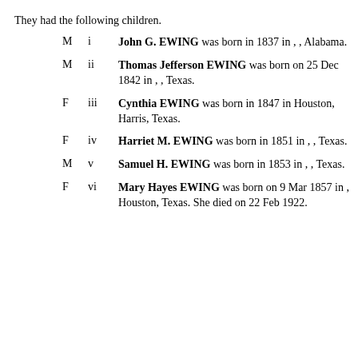They had the following children.
M  i   John G. EWING was born in 1837 in , , Alabama.
M  ii  Thomas Jefferson EWING was born on 25 Dec 1842 in , , Texas.
F  iii  Cynthia EWING was born in 1847 in Houston, Harris, Texas.
F  iv  Harriet M. EWING was born in 1851 in , , Texas.
M  v   Samuel H. EWING was born in 1853 in , , Texas.
F  vi  Mary Hayes EWING was born on 9 Mar 1857 in , Houston, Texas. She died on 22 Feb 1922.